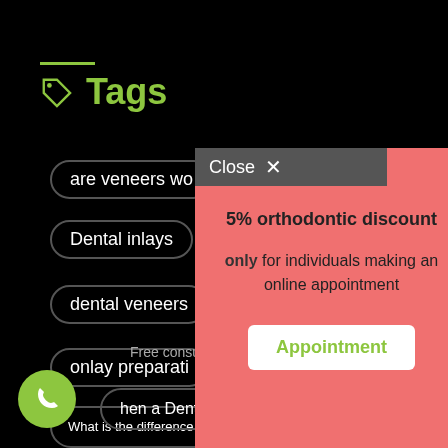Tags
are veneers wo…
Dental inlays
dental veneers
onlay preparati…
[Figure (screenshot): Modal popup with close button showing '5% orthodontic discount only for individuals making an online appointment' with an Appointment button]
What is the difference between dental onlay and crown?
Free consultation
hen a Dental Inlay Is Your Best Option